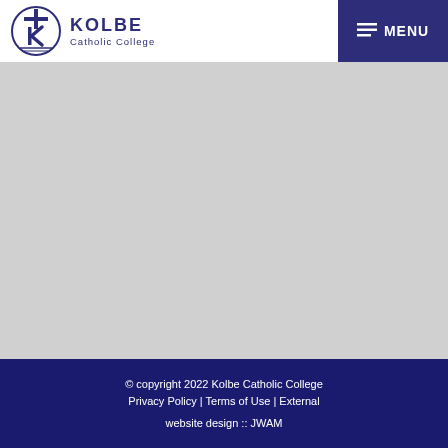[Figure (logo): Kolbe Catholic College logo with cross/K emblem and text 'KOLBE Catholic College']
MENU
[Figure (other): Large grey content area (main body placeholder)]
© copyright 2022 Kolbe Catholic College Privacy Policy | Terms of Use | External website design :: JWAM